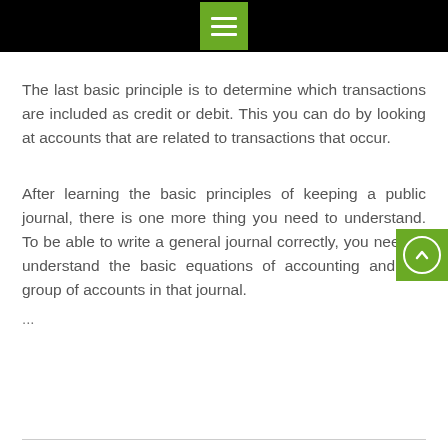The last basic principle is to determine which transactions are included as credit or debit. This you can do by looking at accounts that are related to transactions that occur.
After learning the basic principles of keeping a public journal, there is one more thing you need to understand. To be able to write a general journal correctly, you need to understand the basic equations of accounting and the group of accounts in that journal.
...